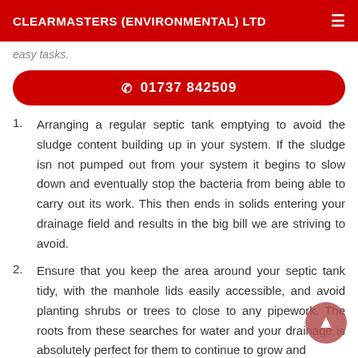CLEARMASTERS (ENVIRONMENTAL) LTD
easy tasks.
📞 01737 842509
Arranging a regular septic tank emptying to avoid the sludge content building up in your system. If the sludge isn not pumped out from your system it begins to slow down and eventually stop the bacteria from being able to carry out its work. This then ends in solids entering your drainage field and results in the big bill we are striving to avoid.
Ensure that you keep the area around your septic tank tidy, with the manhole lids easily accessible, and avoid planting shrubs or trees to close to any pipework. The roots from these searches for water and your drainage is absolutely perfect for them to continue to grow and